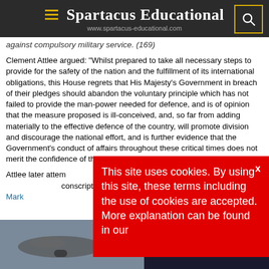Spartacus Educational
www.spartacus-educational.com
against compulsory military service. (169)
Clement Attlee argued: "Whilst prepared to take all necessary steps to provide for the safety of the nation and the fulfillment of its international obligations, this House regrets that His Majesty's Government in breach of their pledges should abandon the voluntary principle which has not failed to provide the man-power needed for defence, and is of opinion that the measure proposed is ill-conceived, and, so far from adding materially to the effective defence of the country, will promote division and discourage the national effort, and is further evidence that the Government's conduct of affairs throughout these critical times does not merit the confidence of the country or this House." (170)
Attlee later attempted to justify his position. He thought this was a situation where conscription might divide the country. He admitted to Mark Arnold-Forster. But you must remember the hangover from the old arguments. Recruitment in all the
This site uses cookies. By using this site, these terms including the use of cookies are accepted. More explanation can be found in our
[Figure (photo): Advertisement banner showing an airplane and text WITHOUT REGARD TO POLITICS, RELIGION, OR ABILITY TO PAY]